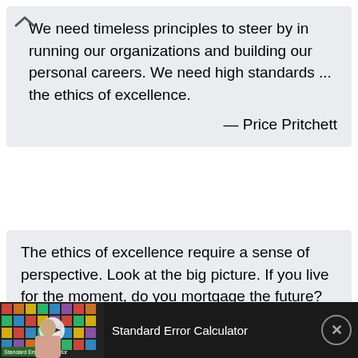We need timeless principles to steer by in running our organizations and building our personal careers. We need high standards ... the ethics of excellence.
— Price Pritchett
The ethics of excellence require a sense of perspective. Look at the big picture. If you live for the moment, do you mortgage the future? What happens if you put your reputation at risk ... and lose the bet?
[Figure (screenshot): Advertisement bar at bottom showing a video thumbnail for 'Standard Error Calculator' with a play button overlay and close (X) button]